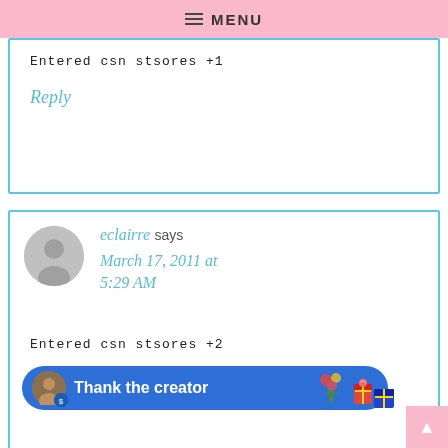MENU
Entered csn stsores +1
Reply
eclairre says
March 17, 2011 at 5:29 AM
Entered csn stsores +2
Reply